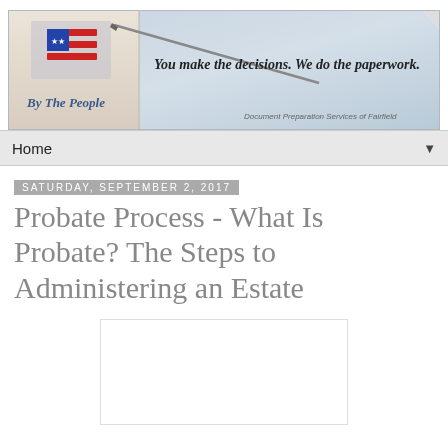[Figure (illustration): By The People document preparation services banner with American flag graphic, pen, blue/grey textured background. Tagline: 'You make the decisions. We do the paperwork.' Subtitle: 'Document Preparation Services of Fairfield']
Home ▼
Saturday, September 2, 2017
Probate Process - What Is Probate? The Steps to Administering an Estate
[Figure (other): Empty white content box placeholder]